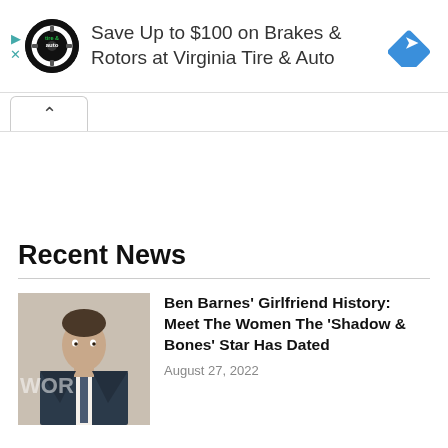[Figure (infographic): Advertisement banner: Virginia Tire & Auto logo (circular black badge with tire graphic), text 'Save Up to $100 on Brakes & Rotors at Virginia Tire & Auto', blue diamond navigation icon on right, triangle play and X controls on left.]
Recent News
[Figure (photo): Photo of Ben Barnes wearing a dark suit with tie, standing in front of a backdrop with partial text 'WOR' visible.]
Ben Barnes' Girlfriend History: Meet The Women The 'Shadow & Bones' Star Has Dated
August 27, 2022